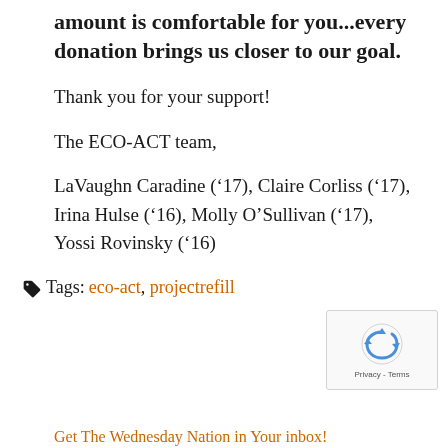amount is comfortable for you...every donation brings us closer to our goal.
Thank you for your support!
The ECO-ACT team,
LaVaughn Caradine (’17), Claire Corliss (’17), Irina Hulse (’16), Molly O’Sullivan (’17), Yossi Rovinsky (’16)
Tags: eco-act, projectrefill
[Figure (other): reCAPTCHA privacy badge with recycling arrows icon and 'Privacy - Terms' text]
Get The Wednesday Nation in Your inbox!